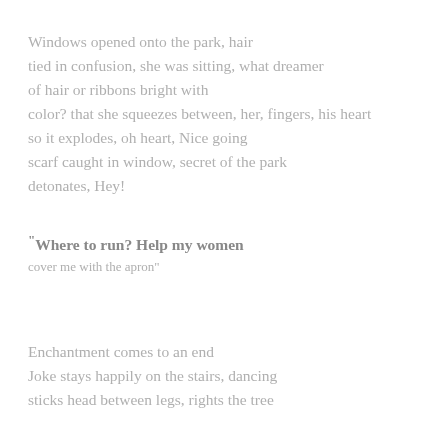Windows opened onto the park, hair
tied in confusion, she was sitting, what dreamer
of hair or ribbons bright with
color? that she squeezes between, her, fingers, his heart
so it explodes, oh heart, Nice going
scarf caught in window, secret of the park
detonates, Hey!
“Where to run? Help my women
cover me with the apron”
Enchantment comes to an end
Joke stays happily on the stairs, dancing
sticks head between legs, rights the tree